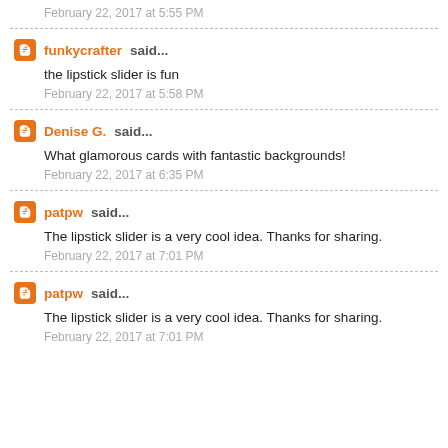February 22, 2017 at 5:55 PM
funkycrafter said... the lipstick slider is fun
February 22, 2017 at 5:58 PM
Denise G. said... What glamorous cards with fantastic backgrounds!
February 22, 2017 at 6:35 PM
patpw said... The lipstick slider is a very cool idea. Thanks for sharing.
February 22, 2017 at 7:01 PM
patpw said... The lipstick slider is a very cool idea. Thanks for sharing.
February 22, 2017 at 7:01 PM